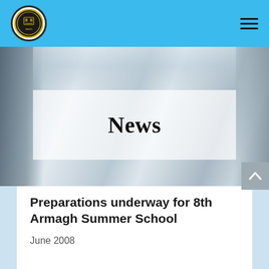[Figure (photo): Close-up photo of silver brass band instruments (French horns or tubas) with a blurred soft-focus background; a hand is visible on the left side holding the instrument. A semi-transparent white overlay band runs across the middle displaying the word News.]
News
Preparations underway for 8th Armagh Summer School
June 2008